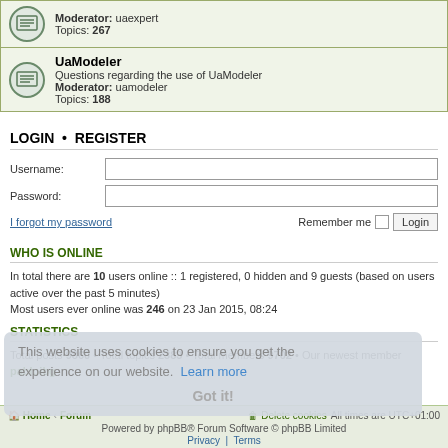Moderator: uaexpert
Topics: 267
UaModeler
Questions regarding the use of UaModeler
Moderator: uamodeler
Topics: 188
LOGIN • REGISTER
Username:
Password:
I forgot my password
Remember me
Login
WHO IS ONLINE
In total there are 10 users online :: 1 registered, 0 hidden and 9 guests (based on users active over the past 5 minutes)
Most users ever online was 246 on 23 Jan 2015, 08:24
STATISTICS
Total posts 9860 • Total topics 2383 • Total members 9702 • Our newest member pabloibg
This website uses cookies to ensure you get the experience on our website. Learn more
Got it!
Home • Forum | Delete cookies | All times are UTC+01:00
Powered by phpBB® Forum Software © phpBB Limited
Privacy | Terms